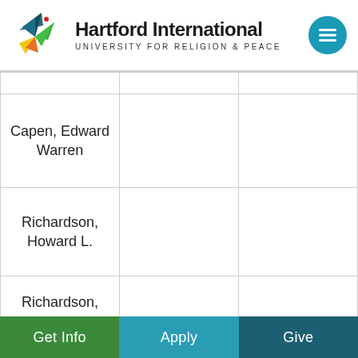Hartford International University for Religion & Peace
|  |  |  |
| --- | --- | --- |
|  |  |  |
| Capen, Edward Warren |  |  |
| Richardson, Howard L. |  |  |
| Richardson, N.E. SEE: Barstow, Robbins |  |  |
Get Info | Apply | Give